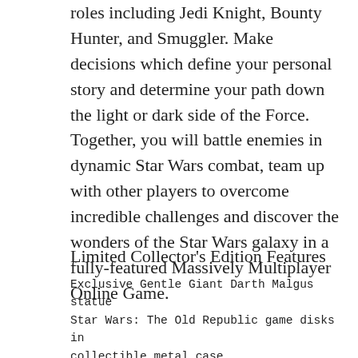roles including Jedi Knight, Bounty Hunter, and Smuggler. Make decisions which define your personal story and determine your path down the light or dark side of the Force. Together, you will battle enemies in dynamic Star Wars combat, team up with other players to overcome incredible challenges and discover the wonders of the Star Wars galaxy in a fully-featured Massively Multiplayer Online Game.
Limited Collector's Edition Features
Exclusive Gentle Giant Darth Malgus statue
Star Wars: The Old Republic game disks in collectible metal case
The Journal of Master Gnost-Dural annotated by Satele Shan
Star Wars: The Old Republic galaxy map
Custom Security Authentication Key
Music of Star Wars: The Old Republic CD
High-quality Collector's Edition box